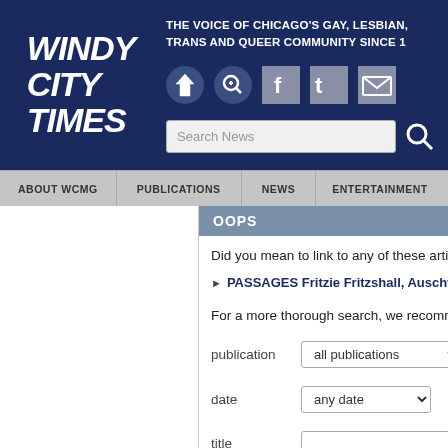[Figure (screenshot): Windy City Times website header with navy blue logo reading WINDY CITY TIMES in bold italic white text]
THE VOICE OF CHICAGO'S GAY, LESBIAN, TRANS AND QUEER COMMUNITY SINCE 1
OOPS
Did you mean to link to any of these articles?
PASSAGES Fritzie Fritzshall, Auschwitz su
For a more thorough search, we recommend us
publication
date
title